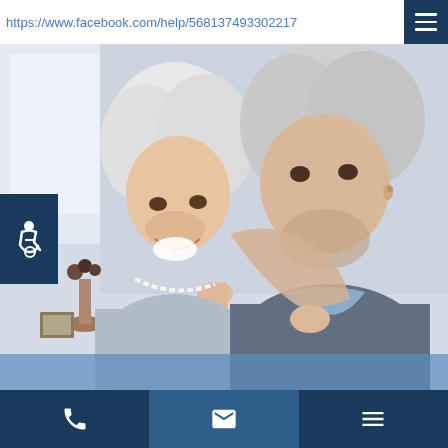https://www.facebook.com/help/568137493302217
[Figure (photo): Elderly couple smiling and embracing, white-haired woman laughing while touching man's face, man wearing grey sweater with blue collar, background is blurred indoor setting with a vase]
Phone | Email | Menu navigation icons